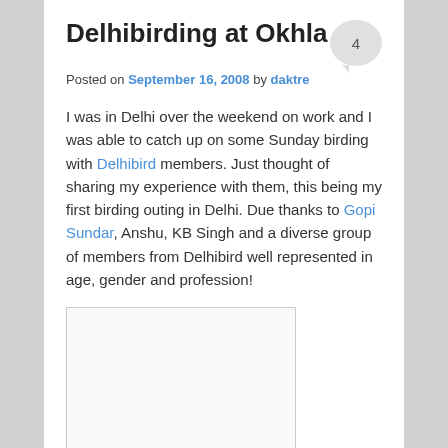Delhibirding at Okhla
Posted on September 16, 2008 by daktre
I was in Delhi over the weekend on work and I was able to catch up on some Sunday birding with Delhibird members. Just thought of sharing my experience with them, this being my first birding outing in Delhi. Due thanks to Gopi Sundar, Anshu, KB Singh and a diverse group of members from Delhibird well represented in age, gender and profession!
[Figure (photo): Blank/white image placeholder rectangle]